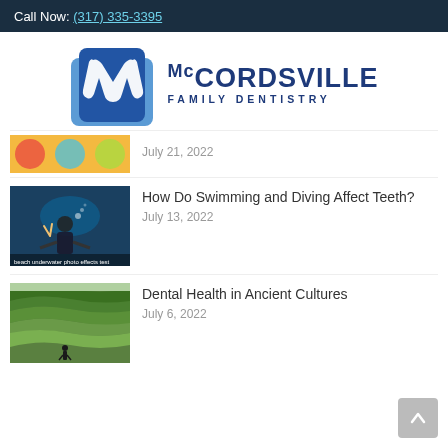Call Now: (317) 335-3395
[Figure (logo): McCordsville Family Dentistry logo with tooth graphic and blue text]
July 21, 2022
How Do Swimming and Diving Affect Teeth?
July 13, 2022
Dental Health in Ancient Cultures
July 6, 2022